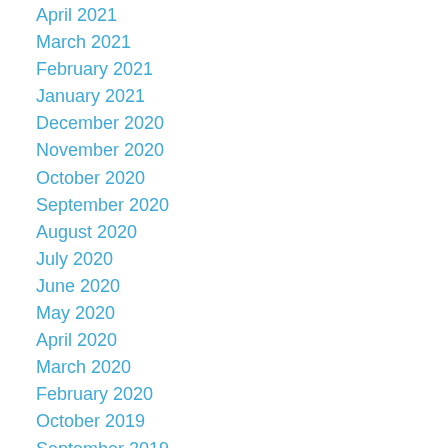April 2021
March 2021
February 2021
January 2021
December 2020
November 2020
October 2020
September 2020
August 2020
July 2020
June 2020
May 2020
April 2020
March 2020
February 2020
October 2019
September 2019
August 2019
July 2019
June 2019